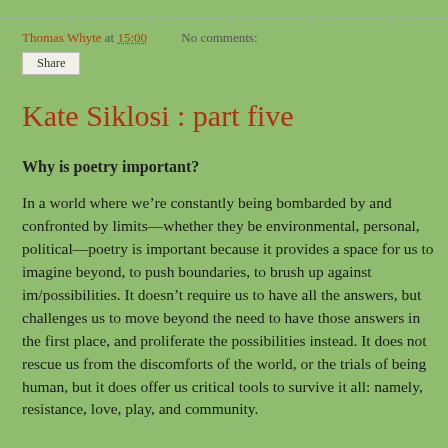Thomas Whyte at 15:00   No comments:
Share
Kate Siklosi : part five
Why is poetry important?
In a world where we’re constantly being bombarded by and confronted by limits—whether they be environmental, personal, political—poetry is important because it provides a space for us to imagine beyond, to push boundaries, to brush up against im/possibilities. It doesn’t require us to have all the answers, but challenges us to move beyond the need to have those answers in the first place, and proliferate the possibilities instead. It does not rescue us from the discomforts of the world, or the trials of being human, but it does offer us critical tools to survive it all: namely, resistance, love, play, and community.